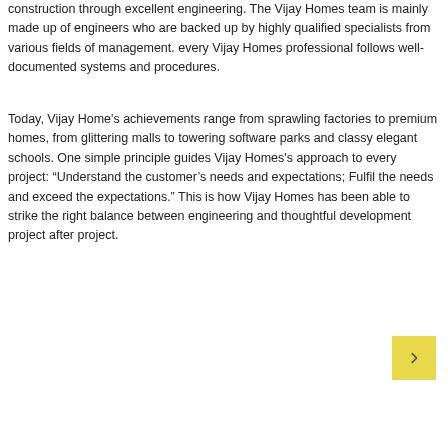construction through excellent engineering. The Vijay Homes team is mainly made up of engineers who are backed up by highly qualified specialists from various fields of management. every Vijay Homes professional follows well-documented systems and procedures.
Today, Vijay Home's achievements range from sprawling factories to premium homes, from glittering malls to towering software parks and classy elegant schools. One simple principle guides Vijay Homes's approach to every project: “Understand the customer’s needs and expectations; Fulfil the needs and exceed the expectations.” This is how Vijay Homes has been able to strike the right balance between engineering and thoughtful development project after project.
[Figure (other): A small yellow/gold square navigation button with a right-pointing arrow icon]